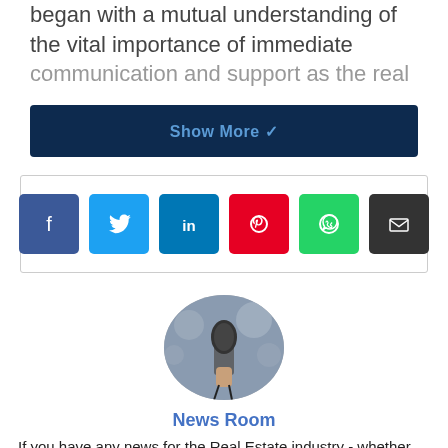began with a mutual understanding of the vital importance of immediate communication and support as the real
[Figure (other): Dark navy blue 'Show More' button with chevron/down arrow]
[Figure (infographic): Social share icons row: Facebook (blue), Twitter (light blue), LinkedIn (dark blue), Pinterest (red), WhatsApp (green), Email (dark grey)]
[Figure (photo): Oval-cropped photo of a person holding a microphone at a press conference, crowd blurred in background]
News Room
If you have any news for the Real Estate industry - whether you are a professional or a supplier to the